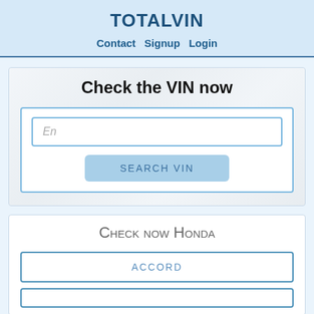TOTALVIN
Contact  Signup  Login
Check the VIN now
En
SEARCH VIN
Check now Honda
ACCORD